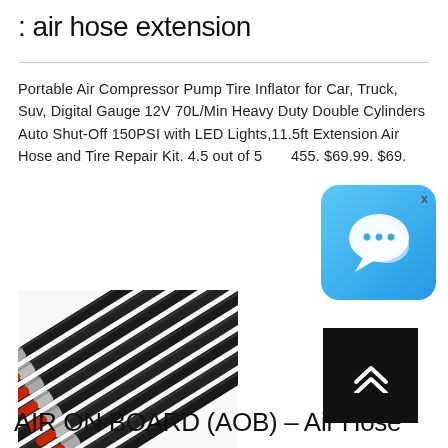: air hose extension
Portable Air Compressor Pump Tire Inflator for Car, Truck, Suv, Digital Gauge 12V 70L/Min Heavy Duty Double Cylinders Auto Shut-Off 150PSI with LED Lights,11.5ft Extension Air Hose and Tire Repair Kit. 4.5 out of 5 stars 455. $69.99. $69.
[Figure (photo): Multiple black air hose extensions with red fittings and silver connectors arranged in parallel]
[Figure (screenshot): Chat app icon: blue gradient rounded square with white speech bubble icon and an X close button]
[Figure (other): Black scroll-to-top button with double chevron up arrows in white]
AIR ON BOARD (AOB) - Air Hose